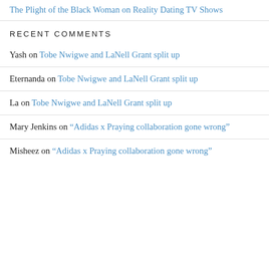The Plight of the Black Woman on Reality Dating TV Shows
RECENT COMMENTS
Yash on Tobe Nwigwe and LaNell Grant split up
Eternanda on Tobe Nwigwe and LaNell Grant split up
La on Tobe Nwigwe and LaNell Grant split up
Mary Jenkins on “Adidas x Praying collaboration gone wrong”
Misheez on “Adidas x Praying collaboration gone wrong”